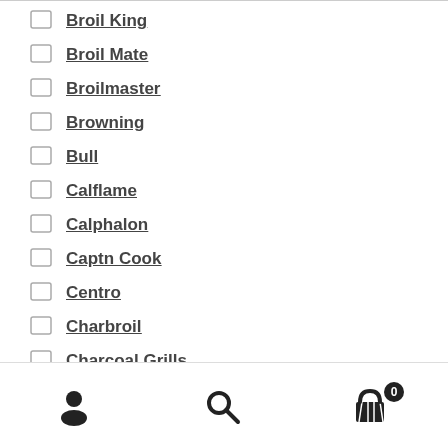Broil King
Broil Mate
Broilmaster
Browning
Bull
Calflame
Calphalon
Captn Cook
Centro
Charbroil
Charcoal Grills